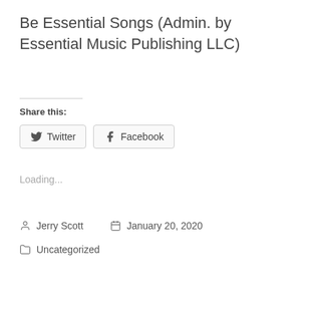Be Essential Songs (Admin. by Essential Music Publishing LLC)
Share this:
[Figure (other): Twitter and Facebook share buttons]
Loading...
Jerry Scott  January 20, 2020
Uncategorized